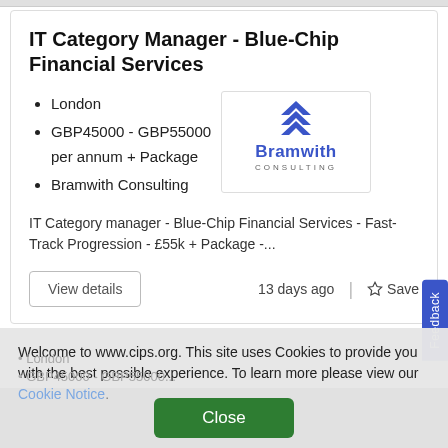IT Category Manager - Blue-Chip Financial Services
London
GBP45000 - GBP55000 per annum + Package
Bramwith Consulting
[Figure (logo): Bramwith Consulting logo — stylized 'B' chevron icon above the text 'Bramwith CONSULTING']
IT Category manager - Blue-Chip Financial Services - Fast-Track Progression - £55k + Package -...
View details
13 days ago
Save
Feedback
Welcome to www.cips.org. This site uses Cookies to provide you with the best possible experience. To learn more please view our Cookie Notice.
Close